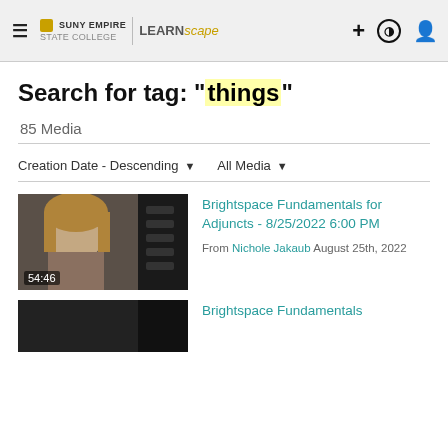SUNY EMPIRE | LEARNscape
Search for tag: "things"
85 Media
Creation Date - Descending   All Media
[Figure (screenshot): Video thumbnail showing a woman with long blonde hair, duration 54:46]
Brightspace Fundamentals for Adjuncts - 8/25/2022 6:00 PM
From Nichole Jakaub August 25th, 2022
[Figure (screenshot): Partial video thumbnail at bottom, dark background]
Brightspace Fundamentals